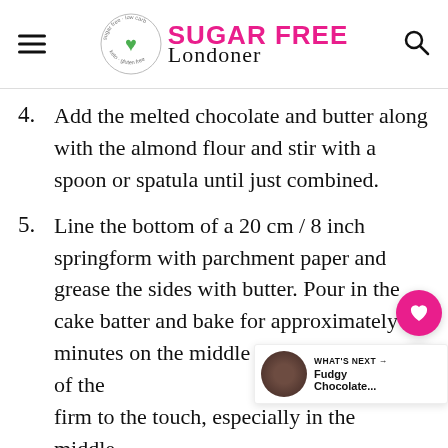Sugar Free Londoner
4. Add the melted chocolate and butter along with the almond flour and stir with a spoon or spatula until just combined.
5. Line the bottom of a 20 cm / 8 inch springform with parchment paper and grease the sides with butter. Pour in the cake batter and bake for approximately 30 minutes on the middle shelf until the top of the cake is firm to the touch, especially in the middle.
6. Leave to cool before releasing from the